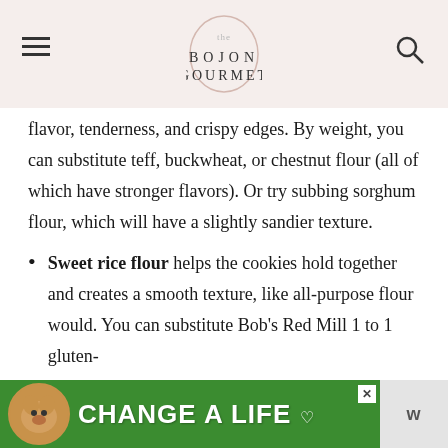the BOJON GOURMET
flavor, tenderness, and crispy edges. By weight, you can substitute teff, buckwheat, or chestnut flour (all of which have stronger flavors). Or try subbing sorghum flour, which will have a slightly sandier texture.
Sweet rice flour helps the cookies hold together and creates a smooth texture, like all-purpose flour would. You can substitute Bob's Red Mill 1 to 1 gluten-
[Figure (other): Advertisement banner: green background with dog image and text 'CHANGE A LIFE']